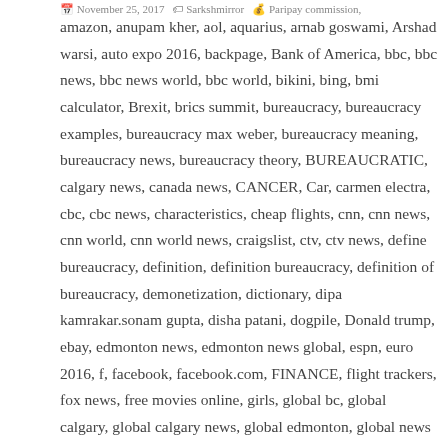November 25, 2017 · Sarkshmirror · Paripay commission,
amazon, anupam kher, aol, aquarius, arnab goswami, Arshad warsi, auto expo 2016, backpage, Bank of America, bbc, bbc news, bbc news world, bbc world, bikini, bing, bmi calculator, Brexit, brics summit, bureaucracy, bureaucracy examples, bureaucracy max weber, bureaucracy meaning, bureaucracy news, bureaucracy theory, BUREAUCRATIC, calgary news, canada news, CANCER, Car, carmen electra, cbc, cbc news, characteristics, cheap flights, cnn, cnn news, cnn world, cnn world news, craigslist, ctv, ctv news, define bureaucracy, definition, definition bureaucracy, definition of bureaucracy, demonetization, dictionary, dipa kamrakar.sonam gupta, disha patani, dogpile, Donald trump, ebay, edmonton news, edmonton news global, espn, euro 2016, f, facebook, facebook.com, FINANCE, flight trackers, fox news, free movies online, girls, global bc, global calgary, global calgary news, global edmonton, global news bbc, global news bc, global news canada, global news weather, global toronto news, global tv, global tv news, global vancouver, global vancouver news, global warming, global warming news, gmail,